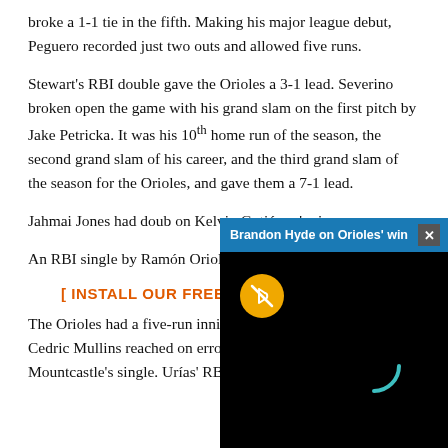broke a 1-1 tie in the fifth. Making his major league debut, Peguero recorded just two outs and allowed five runs.
Stewart's RBI double gave the Orioles a 3-1 lead. Severino broken open the game with his grand slam on the first pitch by Jake Petricka. It was his 10th home run of the season, the second grand slam of his career, and the third grand slam of the season for the Orioles, and gave them a 7-1 lead.
Jahmai Jones had doub... on Kelvin Gutiérrez's si...
[Figure (screenshot): Video overlay popup titled 'Brandon Hyde on Orioles' win' with a black video player area showing a muted icon (orange circle) and a loading spinner arc in teal/cyan. The titlebar is blue with a close button.]
An RBI single by Ramón... Orioles ahead, 8-1, in th...
[ INSTALL OUR FREE MOBILE APP HERE ]
The Orioles had a five-run inning in the eighth. Gutiérrez and Cedric Mullins reached on errors and scored on Ryan Mountcastle's single. Urías' RBI double and Severino's two-